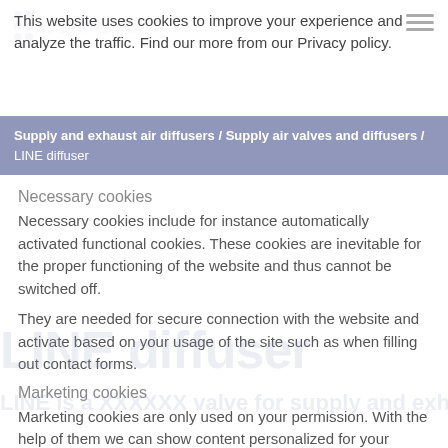CLIMESON (logo with dots)
This website uses cookies to improve your experience and analyze the traffic. Find our more from our Privacy policy.
Supply and exhaust air diffusers / Supply air valves and diffusers / LINE diffuser
Necessary cookies
Necessary cookies include for instance automatically activated functional cookies. These cookies are inevitable for the proper functioning of the website and thus cannot be switched off.
They are needed for secure connection with the website and activate based on your usage of the site such as when filling out contact forms.
Marketing cookies
Marketing cookies are only used on your permission. With the help of them we can show content personalized for your profile on other websites and services.